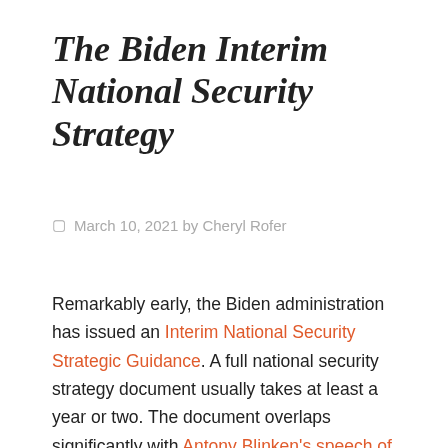The Biden Interim National Security Strategy
March 10, 2021 by Cheryl Rofer
Remarkably early, the Biden administration has issued an Interim National Security Strategic Guidance. A full national security strategy document usually takes at least a year or two. The document overlaps significantly with Antony Blinken's speech of